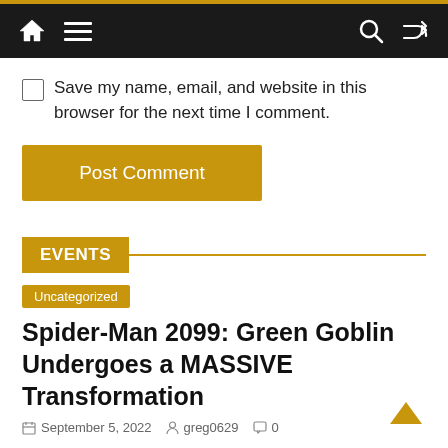Navigation bar with home, menu, search, and shuffle icons
Save my name, email, and website in this browser for the next time I comment.
Post Comment
EVENTS
Uncategorized
Spider-Man 2099: Green Goblin Undergoes a MASSIVE Transformation
September 5, 2022  greg0629  0